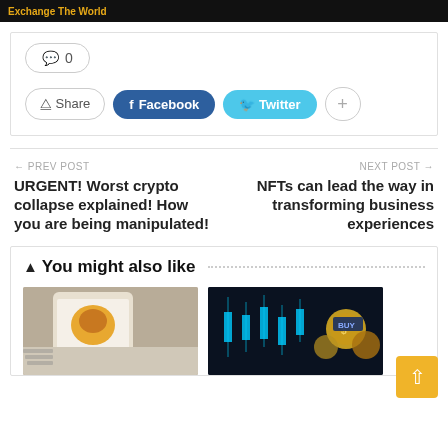[Figure (screenshot): Dark top banner with orange text 'Exchange The World']
💬 0
Share  Facebook  Twitter  +
← PREV POST
URGENT! Worst crypto collapse explained! How you are being manipulated!
NEXT POST →
NFTs can lead the way in transforming business experiences
▲ You might also like
[Figure (photo): Hand holding phone with game app logo]
[Figure (photo): Crypto trading chart with candlesticks and coins]